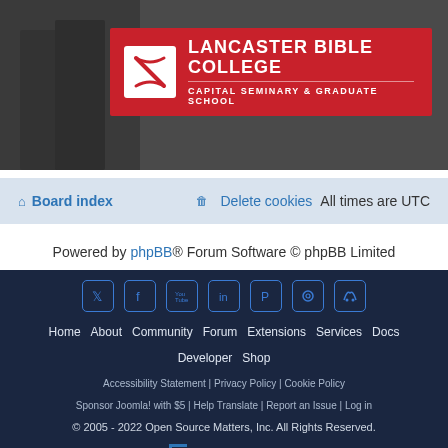[Figure (logo): Lancaster Bible College | Capital Seminary & Graduate School banner with red background and white logo icon on a dark photo background]
Board index   Delete cookies   All times are UTC
Powered by phpBB® Forum Software © phpBB Limited
[Figure (infographic): Dark footer with social media icons (Twitter, Facebook, YouTube, LinkedIn, Pinterest, Instagram, Discord), navigation links: Home, About, Community, Forum, Extensions, Services, Docs, Developer, Shop. Legal links: Accessibility Statement, Privacy Policy, Cookie Policy, Sponsor Joomla! with $5, Help Translate, Report an Issue, Log in. Copyright line: © 2005 - 2022 Open Source Matters, Inc. All Rights Reserved. Rochen logo and 'Joomla! Hosting by Rochen' tagline.]